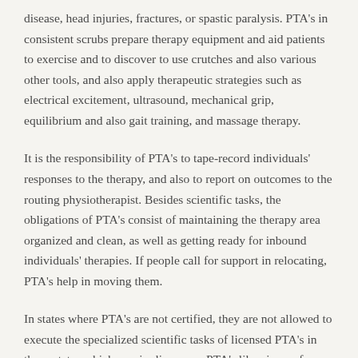disease, head injuries, fractures, or spastic paralysis. PTA's in consistent scrubs prepare therapy equipment and aid patients to exercise and to discover to use crutches and also various other tools, and also apply therapeutic strategies such as electrical excitement, ultrasound, mechanical grip, equilibrium and also gait training, and massage therapy.
It is the responsibility of PTA's to tape-record individuals' responses to the therapy, and also to report on outcomes to the routing physiotherapist. Besides scientific tasks, the obligations of PTA's consist of maintaining the therapy area organized and clean, as well as getting ready for inbound individuals' therapies. If people call for support in relocating, PTA's help in moving them.
In states where PTA's are not certified, they are not allowed to execute the specialized scientific tasks of licensed PTA's in those states which require licensure. PTA's likewise perform office jobs such as responding to the phone, ordering products, filling in insurance policy